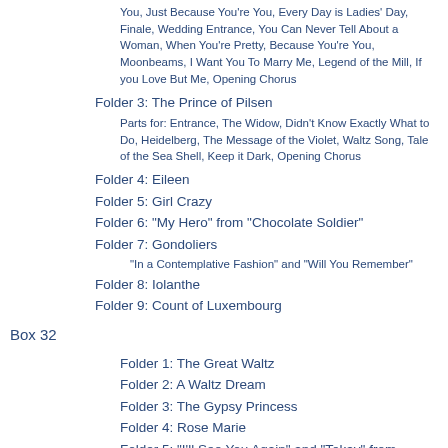You, Just Because You're You, Every Day is Ladies' Day, Finale, Wedding Entrance, You Can Never Tell About a Woman, When You're Pretty, Because You're You, Moonbeams, I Want You To Marry Me, Legend of the Mill, If you Love But Me, Opening Chorus
Folder 3: The Prince of Pilsen
Parts for: Entrance, The Widow, Didn't Know Exactly What to Do, Heidelberg, The Message of the Violet, Waltz Song, Tale of the Sea Shell, Keep it Dark, Opening Chorus
Folder 4: Eileen
Folder 5: Girl Crazy
Folder 6: "My Hero" from "Chocolate Soldier"
Folder 7: Gondoliers
"In a Contemplative Fashion" and "Will You Remember"
Folder 8: Iolanthe
Folder 9: Count of Luxembourg
Box 32
Folder 1: The Great Waltz
Folder 2: A Waltz Dream
Folder 3: The Gypsy Princess
Folder 4: Rose Marie
Folder 5: "I'll See You Again" and "Tokay" from